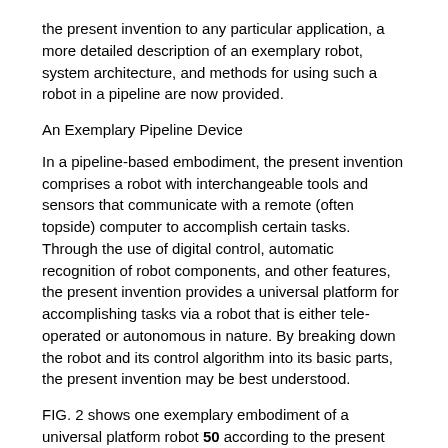the present invention to any particular application, a more detailed description of an exemplary robot, system architecture, and methods for using such a robot in a pipeline are now provided.
An Exemplary Pipeline Device
In a pipeline-based embodiment, the present invention comprises a robot with interchangeable tools and sensors that communicate with a remote (often topside) computer to accomplish certain tasks. Through the use of digital control, automatic recognition of robot components, and other features, the present invention provides a universal platform for accomplishing tasks via a robot that is either tele-operated or autonomous in nature. By breaking down the robot and its control algorithm into its basic parts, the present invention may be best understood.
FIG. 2 shows one exemplary embodiment of a universal platform robot 50 according to the present invention. The robot 50 generally includes a base robot chassis or bed 55 that provides both an anchor for the robot during performance of various tasks as well as a common platform to add the multiple functions as configured